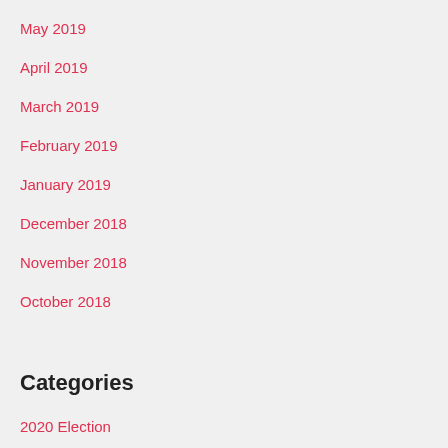May 2019
April 2019
March 2019
February 2019
January 2019
December 2018
November 2018
October 2018
Categories
2020 Election
Allyship
Art
Books